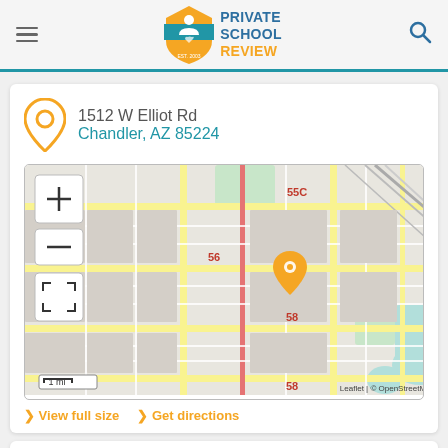Private School Review — EST. 2003
1512 W Elliot Rd
Chandler, AZ 85224
[Figure (map): OpenStreetMap tile map centered on 1512 W Elliot Rd, Chandler, AZ 85224 with an orange map marker. Shows street grid with route labels 55C, 56, 58. Map controls: zoom in (+), zoom out (-), and fullscreen button. Scale indicator: 1 mi. Attribution: Leaflet | © OpenStreetMap]
> View full size   > Get directions